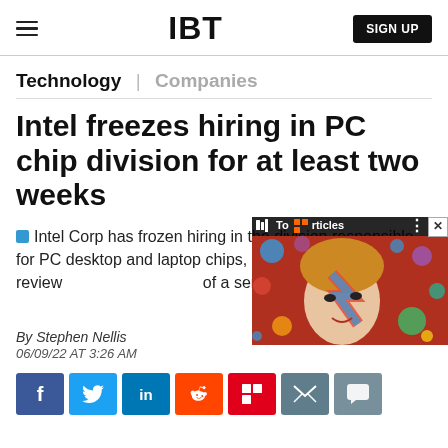IBT | SIGN UP
Technology | Companies
Intel freezes hiring in PC chip division for at least two weeks
Intel Corp has frozen hiring in the division responsible for PC desktop and laptop chips, according to a memo revie[wed], of a series of cost-cutting [measures].
[Figure (screenshot): Video overlay showing a portrait painting (Ziggy Stardust/David Bowie style) with a 'Top Articles' label bar and close button]
By Stephen Nellis
06/09/22 AT 3:26 AM
Share buttons: Facebook, Twitter, LinkedIn, Reddit, Flipboard, Email, Comment